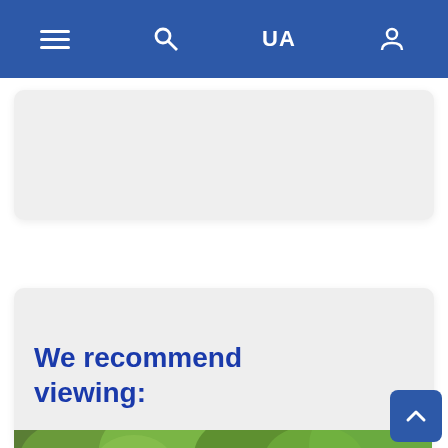Navigation bar with menu, search, UA language selector, and user account icons
[Figure (screenshot): Partially visible grey card/panel at the top of the page content area]
We recommend viewing:
[Figure (photo): Green trees and foliage - outdoor park or nature photo, partially visible at bottom of page]